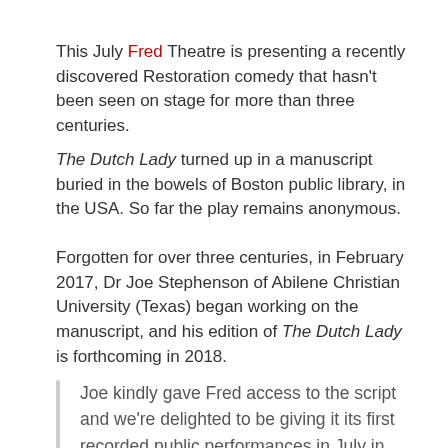This July Fred Theatre is presenting a recently discovered Restoration comedy that hasn't been seen on stage for more than three centuries.
The Dutch Lady turned up in a manuscript buried in the bowels of Boston public library, in the USA. So far the play remains anonymous.
Forgotten for over three centuries, in February 2017, Dr Joe Stephenson of Abilene Christian University (Texas) began working on the manuscript, and his edition of The Dutch Lady is forthcoming in 2018.
Joe kindly gave Fred access to the script and we're delighted to be giving it its first recorded public performances in July in Stratford upon Avon, London and Birmingham.